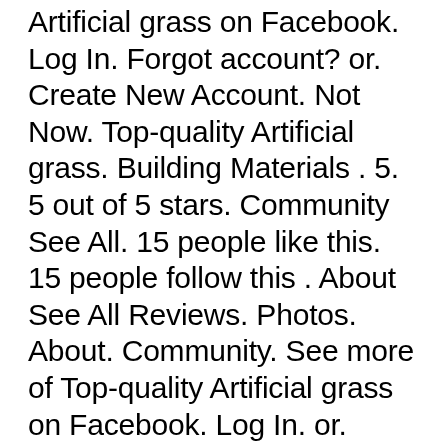Artificial grass on Facebook. Log In. Forgot account? or. Create New Account. Not Now. Top-quality Artificial grass. Building Materials . 5. 5 out of 5 stars. Community See All. 15 people like this. 15 people follow this . About See All Reviews. Photos. About. Community. See more of Top-quality Artificial grass on Facebook. Log In. or. Create New Account. See more of Top-quality Artificial grass on Facebook. Log In. Forgot account? or. Create New Account. Not Now. Top-quality Artificial grass. Building Materials . 5. 5 out of 5 stars. Community See All. 15 people like this. 15 people follow this . About See All